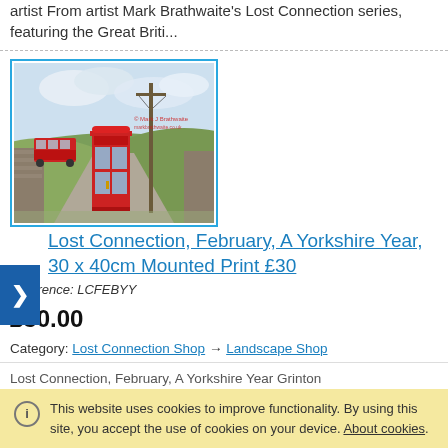artist From artist Mark Brathwaite's Lost Connection series, featuring the Great Briti...
[Figure (illustration): Painting of a red telephone box on a rural Yorkshire road with a red bus in the background and stone walls, by Mark Brathwaite]
Lost Connection, February, A Yorkshire Year, 30 x 40cm Mounted Print £30
Reference: LCFEBYY
£30.00
Category: Lost Connection Shop → Landscape Shop
Lost Connection, February, A Yorkshire Year Grinton
This website uses cookies to improve functionality. By using this site, you accept the use of cookies on your device. About cookies.